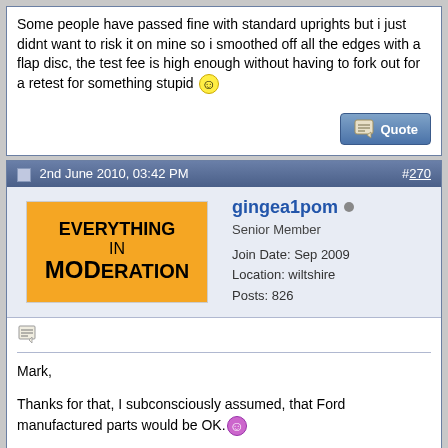Some people have passed fine with standard uprights but i just didnt want to risk it on mine so i smoothed off all the edges with a flap disc, the test fee is high enough without having to fork out for a retest for something stupid 🙂
2nd June 2010, 03:42 PM  #270
gingea1pom  Senior Member  Join Date: Sep 2009  Location: wiltshire  Posts: 826
Mark,

Thanks for that, I subconsciously assumed, that Ford manufactured parts would be OK. 😊

Obviously having thought about it that is not necessarily the case. 😢

I will be softening the edges this weekend. 😎 Thanks for the heads up. 🤓

Cheers Ginge